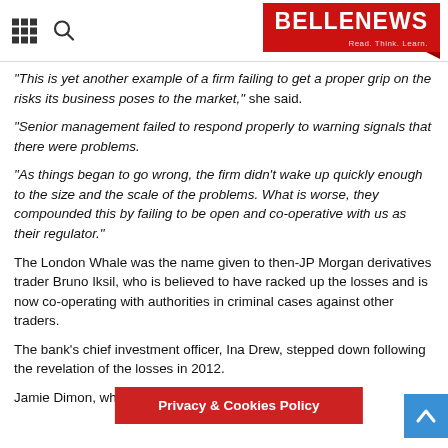BELLENEWS — Read. Think. Learn.
“This is yet another example of a firm failing to get a proper grip on the risks its business poses to the market,” she said.
“Senior management failed to respond properly to warning signals that there were problems.
“As things began to go wrong, the firm didn’t wake up quickly enough to the size and the scale of the problems. What is worse, they compounded this by failing to be open and co-operative with us as their regulator.”
The London Whale was the name given to then-JP Morgan derivatives trader Bruno Iksil, who is believed to have racked up the losses and is now co-operating with authorities in criminal cases against other traders.
The bank’s chief investment officer, Ina Drew, stepped down following the revelation of the losses in 2012.
Jamie Dimon, whose “tempest i… April 2012
Privacy & Cookies Policy